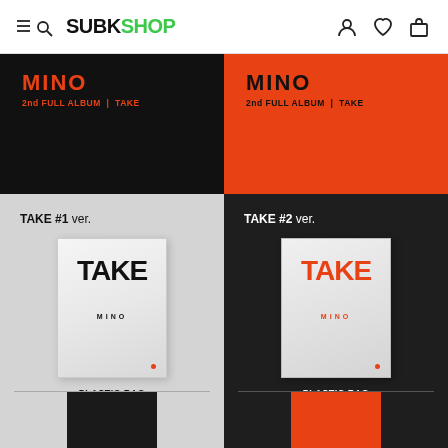SUBKSHOP
[Figure (photo): MINO 2nd FULL ALBUM TAKE - black cover version, TAKE #1 ver. with plastic bag packaging]
[Figure (photo): MINO 2nd FULL ALBUM TAKE - orange cover version, TAKE #2 ver. with plastic bag packaging]